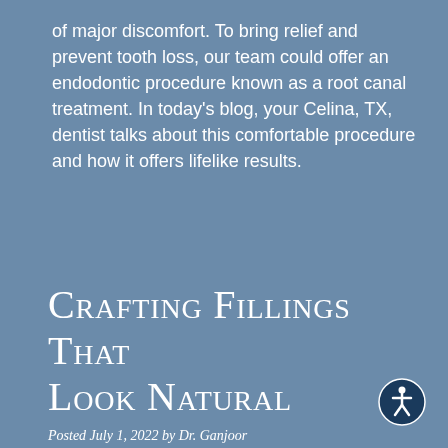of major discomfort. To bring relief and prevent tooth loss, our team could offer an endodontic procedure known as a root canal treatment. In today's blog, your Celina, TX, dentist talks about this comfortable procedure and how it offers lifelike results.
Crafting Fillings That Look Natural
Posted July 1, 2022 by Dr. Ganjoor
[Figure (illustration): Accessibility icon — a circular dark blue button with a white human figure (wheelchair accessibility symbol) in the bottom-right corner of the page.]